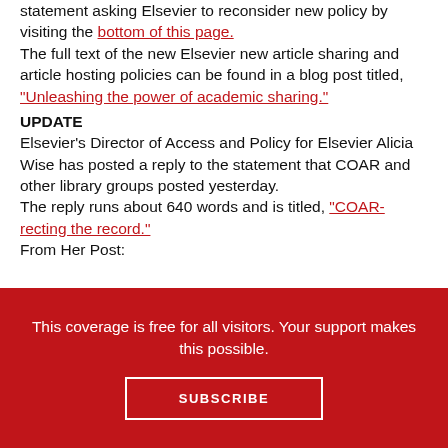statement asking Elsevier to reconsider new policy by visiting the bottom of this page. The full text of the new Elsevier new article sharing and article hosting policies can be found in a blog post titled, "Unleashing the power of academic sharing."
UPDATE
Elsevier's Director of Access and Policy for Elsevier Alicia Wise has posted a reply to the statement that COAR and other library groups posted yesterday.
The reply runs about 640 words and is titled, "COAR-recting the record."
From Her Post:
This coverage is free for all visitors. Your support makes this possible.
SUBSCRIBE